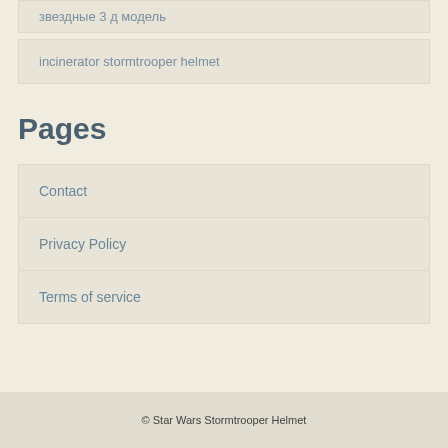звездные 3 д модель
incinerator stormtrooper helmet
Pages
Contact
Privacy Policy
Terms of service
© Star Wars Stormtrooper Helmet